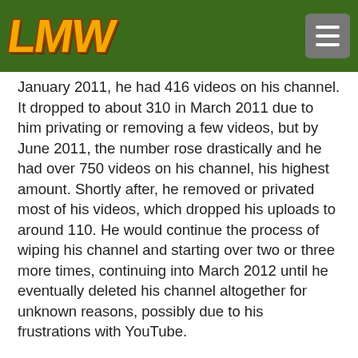LMW [logo with hamburger menu]
January 2011, he had 416 videos on his channel. It dropped to about 310 in March 2011 due to him privating or removing a few videos, but by June 2011, the number rose drastically and he had over 750 videos on his channel, his highest amount. Shortly after, he removed or privated most of his videos, which dropped his uploads to around 110. He would continue the process of wiping his channel and starting over two or three more times, continuing into March 2012 until he eventually deleted his channel altogether for unknown reasons, possibly due to his frustrations with YouTube.
He created numerous channels after this, one notable example being the “MrBuddhaCharlie” channel, created in May 2012. On this channel, his videos mostly consisted of a mix of random content...